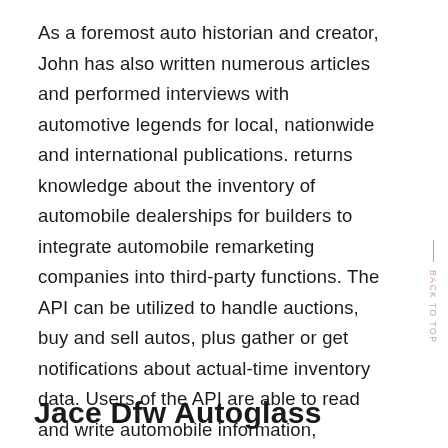As a foremost auto historian and creator, John has also written numerous articles and performed interviews with automotive legends for local, nationwide and international publications. returns knowledge about the inventory of automobile dealerships for builders to integrate automobile remarketing companies into third-party functions. The API can be utilized to handle auctions, buy and sell autos, plus gather or get notifications about actual-time inventory data. Users of the API are able to read and write automobile information, access make/mannequin information or create categorized adverts.
Jace Dfw Autoglass